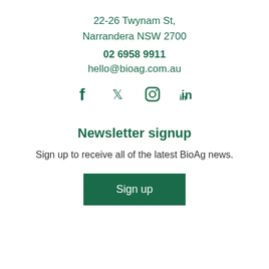22-26 Twynam St,
Narrandera NSW 2700
02 6958 9911
hello@bioag.com.au
[Figure (illustration): Social media icons: Facebook, Twitter, Instagram, LinkedIn in dark green]
Newsletter signup
Sign up to receive all of the latest BioAg news.
Sign up